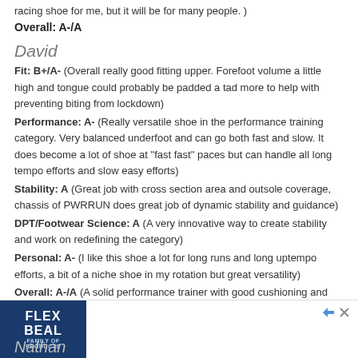racing shoe for me, but it will be for many people.)
Overall: A-/A
David
Fit: B+/A- (Overall really good fitting upper. Forefoot volume a little high and tongue could probably be padded a tad more to help with preventing biting from lockdown)
Performance: A- (Really versatile shoe in the performance training category. Very balanced underfoot and can go both fast and slow. It does become a lot of shoe at "fast fast" paces but can handle all long tempo efforts and slow easy efforts)
Stability: A (Great job with cross section area and outsole coverage, chassis of PWRRUN does great job of dynamic stability and guidance)
DPT/Footwear Science: A (A very innovative way to create stability and work on redefining the category)
Personal: A- (I like this shoe a lot for long runs and long uptempo efforts, a bit of a niche shoe in my rotation but great versatility)
Overall: A-/A (A solid performance trainer with good cushioning and stability elements, dynamic stability and guidance noticeable in a positive way. A solid addition to...
Nathan